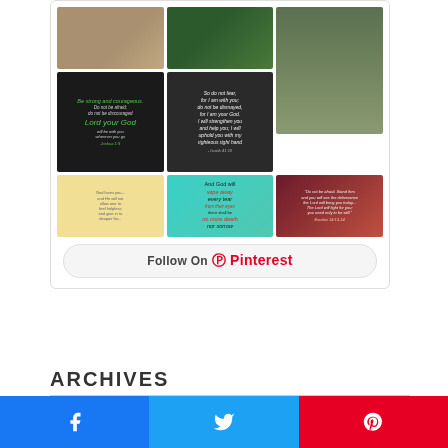[Figure (screenshot): Pinterest widget showing a grid of 9 images including outdoor patio, garden path, moss tree, Bible verse chalk boards, yellow quote card, teal Revelation quote, and sunset Bible verse image, with a Follow On Pinterest button at the bottom]
ARCHIVES
[Figure (infographic): Social share bar with three buttons: Facebook (blue), Twitter (light blue), Pinterest (red), each with their respective icons]